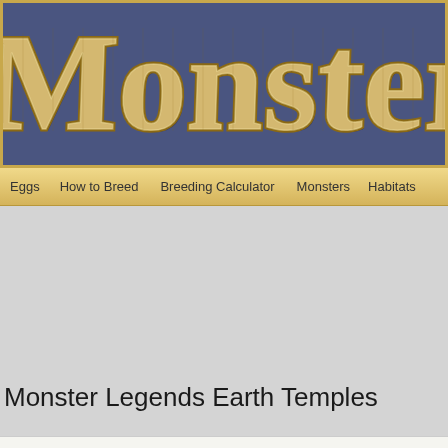Monster L...
Eggs | How to Breed | Breeding Calculator | Monsters | Habitats
Monster Legends Earth Temples